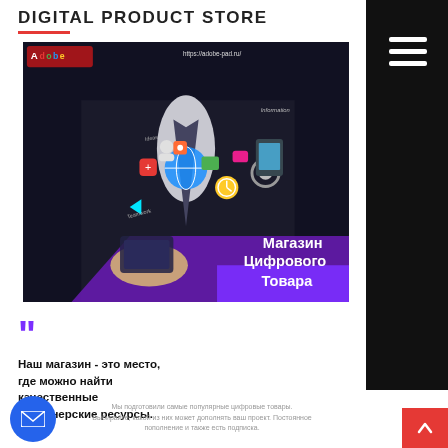DIGITAL PRODUCT STORE
[Figure (photo): Person in suit holding a tablet/smartphone with digital icons and app symbols floating out of a dark screen. Purple/violet overlay with Adobe logo top left and URL top right. White bold Russian text overlay: Магазин Цифрового Товара (Digital Product Store). Purple geometric shape bottom right.]
Наш магазин - это место, где можно найти качественные дизайнерские ресурсы.
Мы подготовили самые популярные цифровые товары. Выбирайте, какой из них может дополнять ваш проект. Постоянное пополнение и также есть подписка.